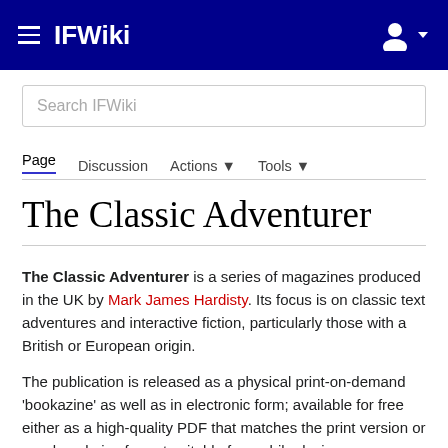IFWiki
[Figure (screenshot): Search bar with placeholder text 'Search IFWiki']
Page  Discussion  Actions ▼  Tools ▼
The Classic Adventurer
The Classic Adventurer is a series of magazines produced in the UK by Mark James Hardisty. Its focus is on classic text adventures and interactive fiction, particularly those with a British or European origin.
The publication is released as a physical print-on-demand 'bookazine' as well as in electronic form; available for free either as a high-quality PDF that matches the print version or a reduced-size format suitable for mobile devices.